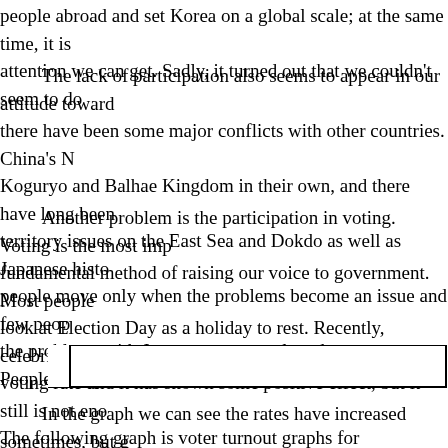people abroad and set Korea on a global scale; at the same time, it is attention we can get. Sadly, it turned out that we couldn't seem to do
The lack of participation also seems to appear in our attitude towards there have been some major conflicts with other countries. China's N Koguryo and Balhae Kingdom in their own, and there have long been territory issues on the East Sea and Dokdo as well as Japanese histo people move only when the problems become an issue and few peop the problems with Japan are more or less drawn out. People are upse
Another problem is the participation in voting. Voting is the most imp fundamental method of raising our voice to government. Most people look at Election Day as a holiday to rest. Recently, celebrities have ca voting rate and it has shown some positive effect, but it still is not eno The following graph is voter turnout graphs for Presidential Elections now.
[Figure (other): A partial horizontal bar chart or figure box showing voter turnout for Presidential Elections, partially visible at the bottom of the page.]
In the graph we can see the rates have increased sometimes, but g graph is the age group of voting for the last Presidential election 5 ye National Assembly on April 2012.